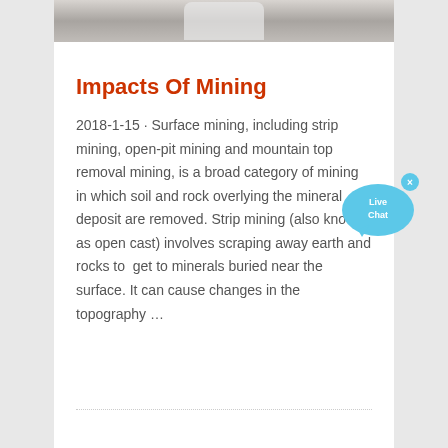[Figure (photo): Partial photo of mining equipment or machinery, cropped at top of page]
Impacts Of Mining
2018-1-15 · Surface mining, including strip mining, open-pit mining and mountain top removal mining, is a broad category of mining in which soil and rock overlying the mineral deposit are removed. Strip mining (also known as open cast) involves scraping away earth and rocks to get to minerals buried near the surface. It can cause changes in the topography …
[Figure (illustration): Live Chat speech bubble widget, light blue color with 'Live Chat' text]